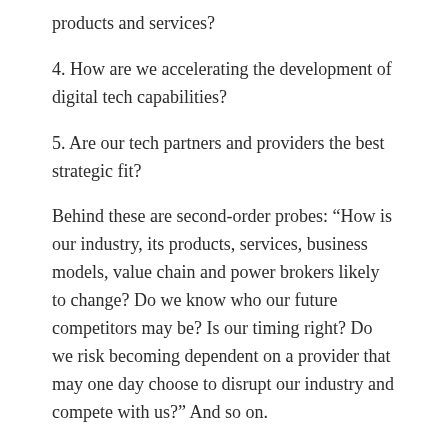products and services?
4. How are we accelerating the development of digital tech capabilities?
5. Are our tech partners and providers the best strategic fit?
Behind these are second-order probes: “How is our industry, its products, services, business models, value chain and power brokers likely to change? Do we know who our future competitors may be? Is our timing right? Do we risk becoming dependent on a provider that may one day choose to disrupt our industry and compete with us?” And so on.
In posing these kinds of questions, the CIO NED can uncover executive management’s technology-related